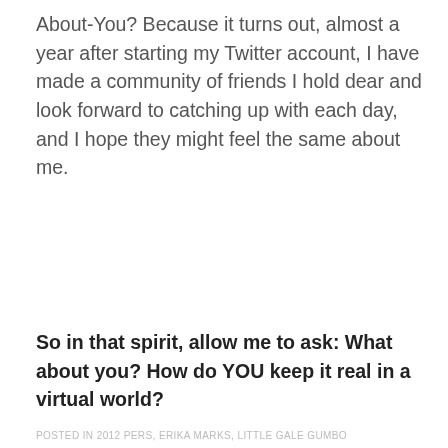About-You? Because it turns out, almost a year after starting my Twitter account, I have made a community of friends I hold dear and look forward to catching up with each day, and I hope they might feel the same about me.
So in that spirit, allow me to ask: What about you? How do YOU keep it real in a virtual world?
[Figure (screenshot): Author bio widget with two tabs: 'Bio' (active, dark background) and 'Latest Posts'. Below is the bio card showing a photo of ErikaM (a woman with blonde hair wearing black) and the name 'ErikaM' in bold.]
POSTED IN 2012 PERS, ERIKA MARKS, LITTLE GALE GUMBO